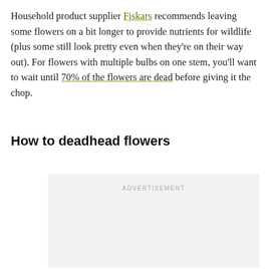Household product supplier Fiskars recommends leaving some flowers on a bit longer to provide nutrients for wildlife (plus some still look pretty even when they're on their way out). For flowers with multiple bulbs on one stem, you'll want to wait until 70% of the flowers are dead before giving it the chop.
How to deadhead flowers
[Figure (other): Advertisement placeholder box with light gray background and 'ADVERTISEMENT' label text centered at the top]